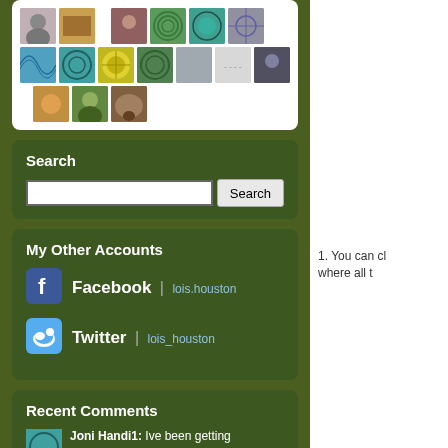[Figure (other): Grid of user avatar images including photos and pattern thumbnails]
Search
[Figure (other): Search input box with Search button]
My Other Accounts
[Figure (other): Facebook icon]
Facebook | lois.houston
[Figure (other): Twitter icon]
Twitter | lois_houston
Recent Comments
[Figure (other): Commenter avatar thumbnail]
Joni Handi1: Ive been getting
1. You can cl where all t